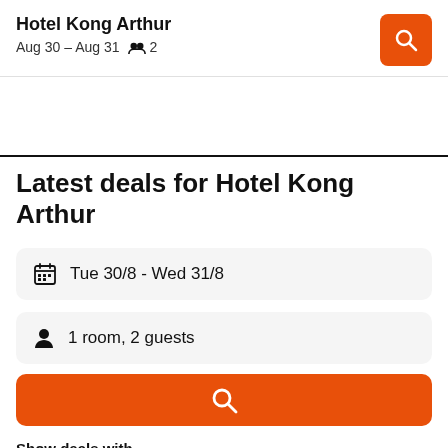Hotel Kong Arthur
Aug 30 – Aug 31   2
Latest deals for Hotel Kong Arthur
Tue 30/8  -  Wed 31/8
1 room, 2 guests
Show deals with
Free cancellation
Free breakfast